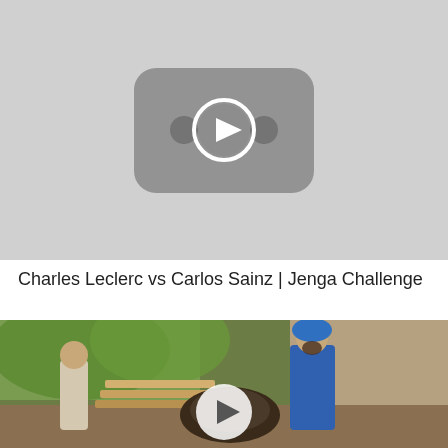[Figure (screenshot): YouTube video thumbnail placeholder showing a grey YouTube play button logo on a light grey background]
Charles Leclerc vs Carlos Sainz | Jenga Challenge
[Figure (screenshot): Video thumbnail showing two men in a workshop/rustic setting, one wearing a blue turban and blue kurta, working with wooden materials. A circular play button overlay is centered on the image.]